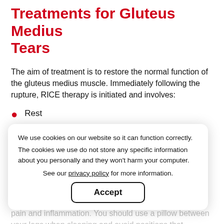Treatments for Gluteus Medius Tears
The aim of treatment is to restore the normal function of the gluteus medius muscle. Immediately following the rupture, RICE therapy is initiated and involves:
Rest
Ice
Compression
Elevation
Medications such as non-steroidal anti-inflammatory drugs (NSAIDs) may be used temporarily to reduce the pain and inflammation. You should use a pillow between your legs when sleeping and avoid positions that overstretch the muscle. Assistive devices such as a cane or crutches may be used temporarily to facilitate pain-free
We use cookies on our website so it can function correctly. The cookies we use do not store any specific information about you personally and they won't harm your computer.
See our privacy policy for more information.
Accept